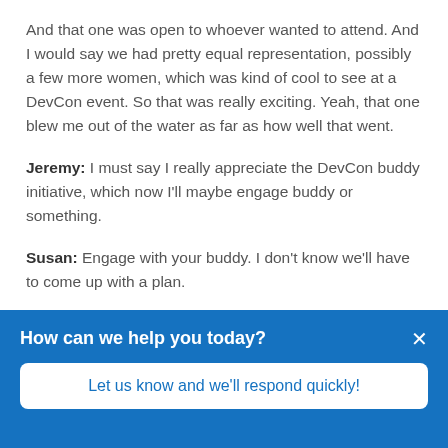And that one was open to whoever wanted to attend. And I would say we had pretty equal representation, possibly a few more women, which was kind of cool to see at a DevCon event. So that was really exciting. Yeah, that one blew me out of the water as far as how well that went.
Jeremy: I must say I really appreciate the DevCon buddy initiative, which now I'll maybe engage buddy or something.
Susan: Engage with your buddy. I don't know we'll have to come up with a plan.
How can we help you today?
Let us know and we'll respond quickly!